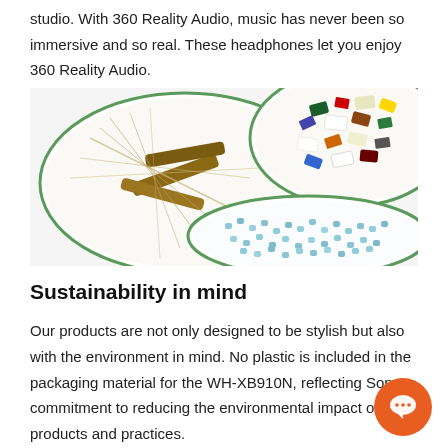studio. With 360 Reality Audio, music has never been so immersive and so real. These headphones let you enjoy 360 Reality Audio.
[Figure (photo): Three circular petri dishes on a white background containing: one with natural fibers and wooden pieces, one with colorful paper/plastic fragments, and one with small blue/teal plastic pellets or glass beads — illustrating recycled and sustainable materials.]
Sustainability in mind
Our products are not only designed to be stylish but also with the environment in mind. No plastic is included in the packaging material for the WH-XB910N, reflecting Sony's commitment to reducing the environmental impact of products and practices.